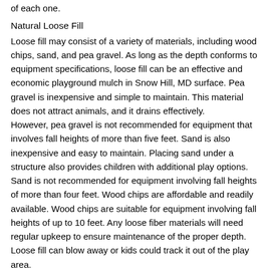of each one.
Natural Loose Fill
Loose fill may consist of a variety of materials, including wood chips, sand, and pea gravel. As long as the depth conforms to equipment specifications, loose fill can be an effective and economic playground mulch in Snow Hill, MD surface. Pea gravel is inexpensive and simple to maintain. This material does not attract animals, and it drains effectively.
However, pea gravel is not recommended for equipment that involves fall heights of more than five feet. Sand is also inexpensive and easy to maintain. Placing sand under a structure also provides children with additional play options. Sand is not recommended for equipment involving fall heights of more than four feet. Wood chips are affordable and readily available. Wood chips are suitable for equipment involving fall heights of up to 10 feet. Any loose fiber materials will need regular upkeep to ensure maintenance of the proper depth. Loose fill can blow away or kids could track it out of the play area.